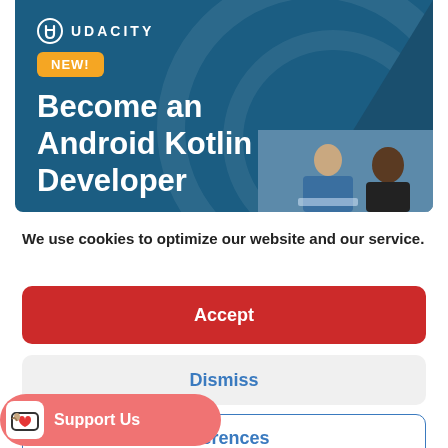[Figure (illustration): Udacity advertisement banner with dark blue background, Udacity logo at top, NEW! badge in orange/yellow, large white text reading 'Become an Android Kotlin Developer', and photo strip of two people on the right side.]
We use cookies to optimize our website and our service.
Accept
Dismiss
preferences
Support Us